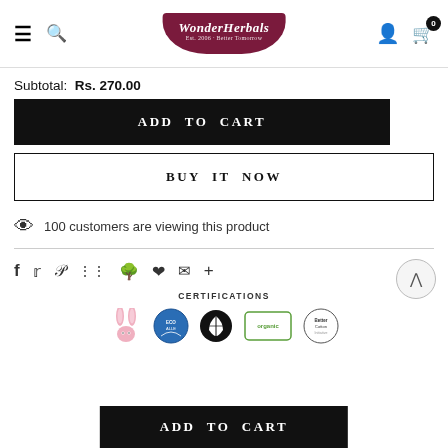Wonder Herbals navigation bar with menu, search, logo, user icon, and cart (0 items)
Subtotal: Rs. 270.00
ADD TO CART
BUY IT NOW
100 customers are viewing this product
[Figure (infographic): Social sharing icons: Facebook, Twitter, Pinterest, Grid, Bookmark, Heart, Email, Plus. Scroll-to-top button on the right.]
CERTIFICATIONS
[Figure (infographic): Certification icons row: cruelty-free bunny, leaping bunny (ECOALB?), botanical/plant icon, organic certified, cotton certified]
ADD TO CART